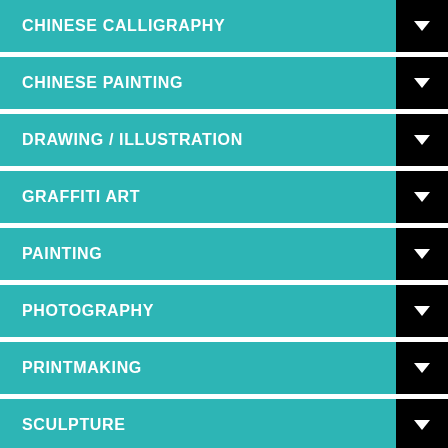CHINESE CALLIGRAPHY
CHINESE PAINTING
DRAWING / ILLUSTRATION
GRAFFITI ART
PAINTING
PHOTOGRAPHY
PRINTMAKING
SCULPTURE
ADVERTISING
ARCHITECTURE
CRAFTS
DESIGN